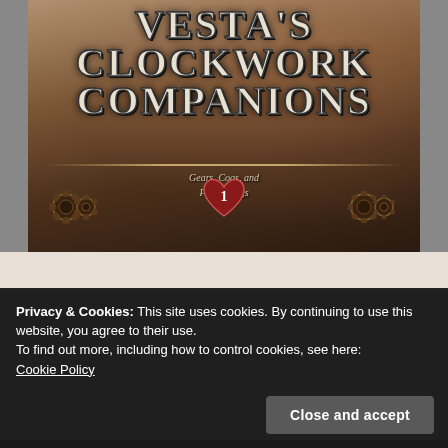[Figure (illustration): Book cover for 'Vesta's Clockwork Companions: Gears, Cogs, and Puppy Dogs, Book 1'. Steampunk-style cover with ornate lettering, gears, and decorative motifs on a dark, richly illustrated background.]
Privacy & Cookies: This site uses cookies. By continuing to use this website, you agree to their use.
To find out more, including how to control cookies, see here:
Cookie Policy
Close and accept